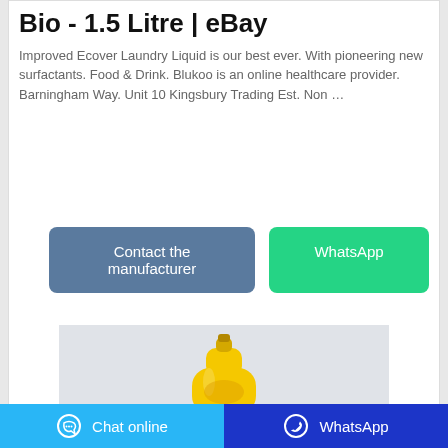Bio - 1.5 Litre | eBay
Improved Ecover Laundry Liquid is our best ever. With pioneering new surfactants. Food & Drink. Blukoo is an online healthcare provider. Barningham Way. Unit 10 Kingsbury Trading Est. Non …
[Figure (other): Two action buttons: 'Contact the manufacturer' (blue-grey) and 'WhatsApp' (green)]
[Figure (photo): Yellow laundry liquid bottle on light grey background]
Chat online   WhatsApp